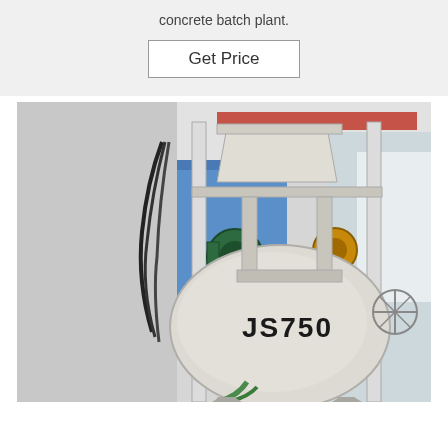concrete batch plant.
Get Price
[Figure (photo): Industrial concrete mixer machine labeled JS750, photographed in a factory/workshop setting. The machine is white/cream colored with a large drum bearing the label 'JS750', mounted on a steel frame with various mechanical components, motors, and piping visible. Blue structural elements and overhead cranes visible in the background.]